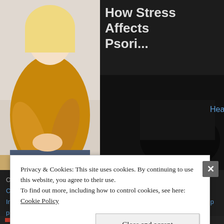[Figure (photo): Woman in yellow/mustard knit sweater looking at her arm/elbow, seated, with light background. Partial view of dark background on right side with partial article title and HealthCentral.com link.]
How Stress Affects Psoriasis
HealthCentral.com
October 16, 2015 | Categories: Horror, Movies | Tags: Booktrope, Candy, Cannibal Holocaust, Clive Barker, Forsaken, Grindhouse, Halloween, Intruder, Lord of Illusions, Pieces, Reviews, Savage Cinema, Scanners, top picks, X-Files | 1 Comment
Privacy & Cookies: This site uses cookies. By continuing to use this website, you agree to their use.
To find out more, including how to control cookies, see here: Cookie Policy
Close and accept